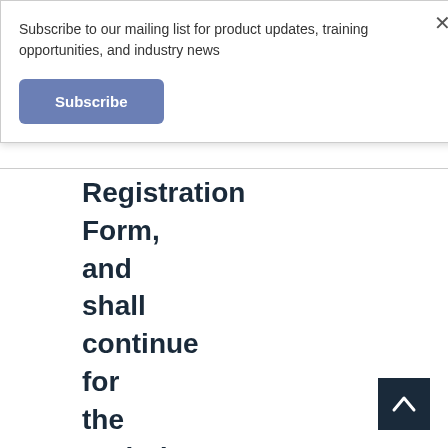Subscribe to our mailing list for product updates, training opportunities, and industry news
Subscribe
Registration Form, and shall continue for the period of time set forth in